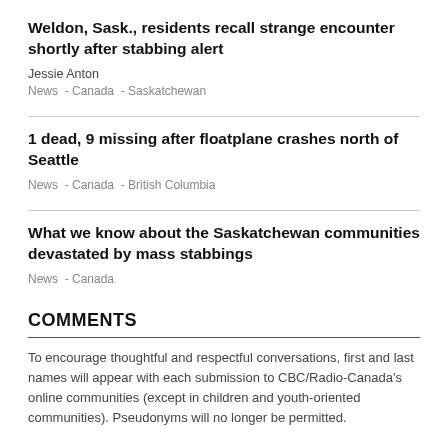Weldon, Sask., residents recall strange encounter shortly after stabbing alert
Jessie Anton
News  -  Canada  -  Saskatchewan
1 dead, 9 missing after floatplane crashes north of Seattle
News  -  Canada  -  British Columbia
What we know about the Saskatchewan communities devastated by mass stabbings
News  -  Canada
COMMENTS
To encourage thoughtful and respectful conversations, first and last names will appear with each submission to CBC/Radio-Canada's online communities (except in children and youth-oriented communities). Pseudonyms will no longer be permitted.